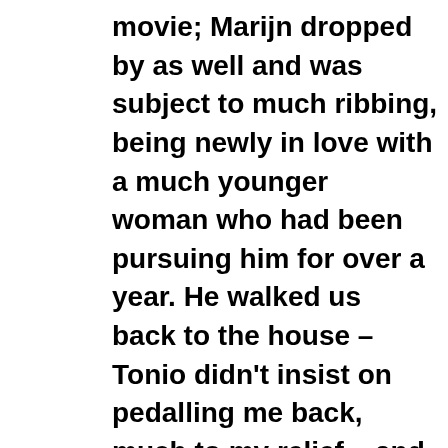movie; Marijn dropped by as well and was subject to much ribbing, being newly in love with a much younger woman who had been pursuing him for over a year. He walked us back to the house – Tonio didn't insist on pedalling me back, much to my relief – and then the four of us (Tonio, Marijn, Mark and I) lounged decadently about on our mattresses talking and